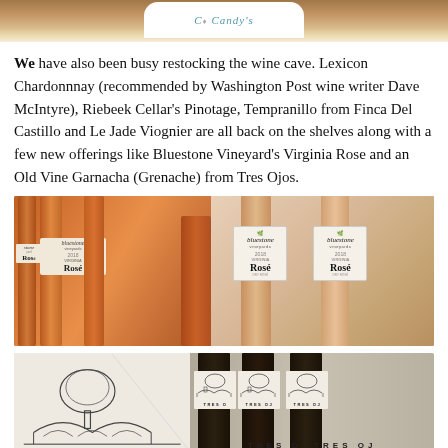[Figure (photo): Top portion of a cropped photo showing what appears to be a branded card or sign reading "Candy's" in script letters with a teal/turquoise decorative element]
We have also been busy restocking the wine cave. Lexicon Chardonnnay (recommended by Washington Post wine writer Dave McIntyre), Riebeek Cellar's Pinotage, Tempranillo from Finca Del Castillo and Le Jade Viognier are all back on the shelves along with a few new offerings like Bluestone Vineyard's Virginia Rose and an Old Vine Garnacha (Grenache) from Tres Ojos.
[Figure (photo): Photo of multiple Bluestone Vineyards Virginia Rosé wine bottles from 2018, shown both at an angle (left) and upright (right) displaying the label]
[Figure (photo): Photo showing Tres Ojos wine bottles with a sketch/illustration label featuring an old vine tree and stone bridge, with 'TRES O' text visible at bottom]